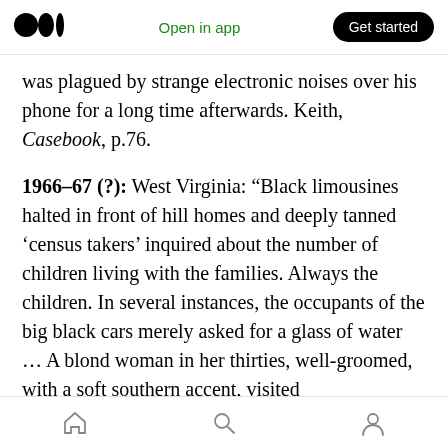Medium app navigation bar with logo, 'Open in app', and 'Get started' button
was plagued by strange electronic noises over his phone for a long time afterwards. Keith, Casebook, p.76.
1966–67 (?): West Virginia: “Black limousines halted in front of hill homes and deeply tanned ‘census takers’ inquired about the number of children living with the families. Always the children. In several instances, the occupants of the big black cars merely asked for a glass of water … A blond woman in her thirties, well-groomed, with a soft southern accent, visited
Bottom navigation bar with home, search, and profile icons